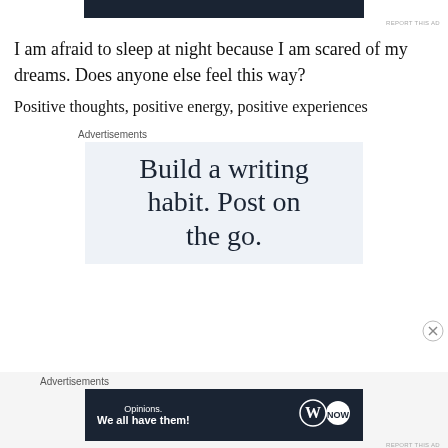[Figure (screenshot): Dark navy advertisement banner at top of page]
REPORT THIS AD
I am afraid to sleep at night because I am scared of my dreams. Does anyone else feel this way?
Positive thoughts, positive energy, positive experiences
Advertisements
[Figure (screenshot): Light blue advertisement box with text: Build a writing habit. Post on the go.]
Advertisements
[Figure (screenshot): Dark navy advertisement banner: Opinions. We all have them! with WordPress logo]